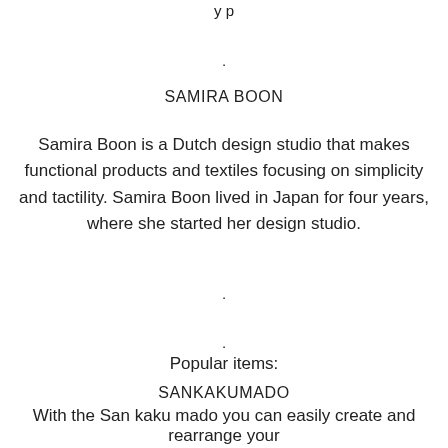y p
.
SAMIRA BOON
Samira Boon is a Dutch design studio that makes functional products and textiles focusing on simplicity and tactility. Samira Boon lived in Japan for four years, where she started her design studio.
.
.
Popular items:
SANKAKUMADO
With the San kaku mado you can easily create and rearrange your